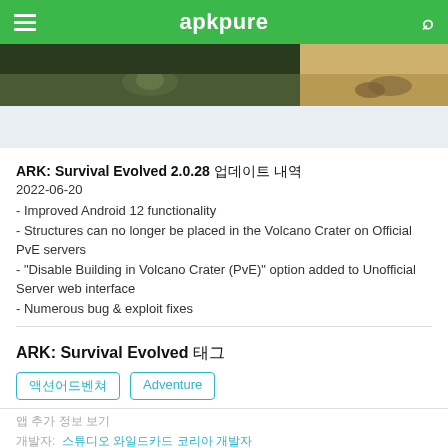apkpure
[Figure (screenshot): Two game screenshots side by side: left shows a dark green grassy scene with an animal, right shows a brown sandy scene with stones]
[Figure (other): Advertisement banner (light blue/grey background)]
ARK: Survival Evolved 2.0.28 업데이트 내역
2022-06-20
- Improved Android 12 functionality
- Structures can no longer be placed in the Volcano Crater on Official PvE servers
- "Disable Building in Volcano Crater (PvE)" option added to Unofficial Server web interface
- Numerous bug & exploit fixes
ARK: Survival Evolved 태그
액션어드벤쳐  Adventure
앱 추가 정보 보기
개발자:  스튜디오 와일드카드 코리아 개발자
최근 업데이 출시일:  2022-06-17